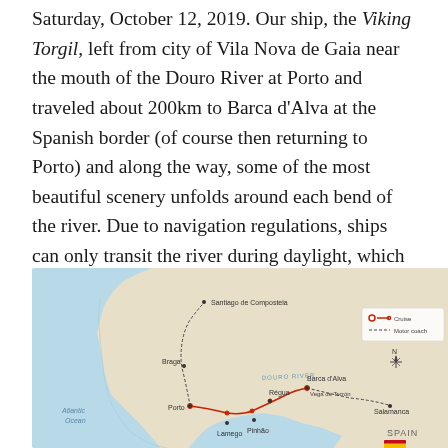Saturday, October 12, 2019. Our ship, the Viking Torgil, left from city of Vila Nova de Gaia near the mouth of the Douro River at Porto and traveled about 200km to Barca d'Alva at the Spanish border (of course then returning to Porto) and along the way, some of the most beautiful scenery unfolds around each bend of the river. Due to navigation regulations, ships can only transit the river during daylight, which is perfect for sightseeing. At night the ship is docked at small riverside towns and various shore excursions are scheduled around these stops.
[Figure (map): Map of northwestern Iberian Peninsula showing the Douro River cruise route from Porto through Régua, Pinhão, Lamego, to Barca d'Alva at the Spanish border, with dotted motor coach lines to Santiago de Compostela and Salamanca. Atlantic Ocean shown to the west. Legend shows cruise line (red) and motor coach (dotted). North arrow compass included. Spain label with flag shown in lower right.]